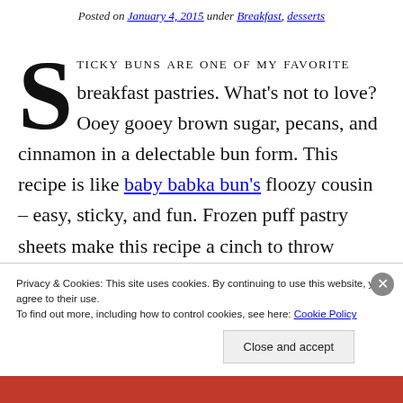Posted on January 4, 2015 under Breakfast, desserts
STICKY BUNS ARE ONE OF MY FAVORITE breakfast pastries. What's not to love? Ooey gooey brown sugar, pecans, and cinnamon in a delectable bun form. This recipe is like baby babka bun's floozy cousin – easy, sticky, and fun. Frozen puff pastry sheets make this recipe a cinch to throw together – perfect for a brunch or an impromptu
Privacy & Cookies: This site uses cookies. By continuing to use this website, you agree to their use.
To find out more, including how to control cookies, see here: Cookie Policy
Close and accept